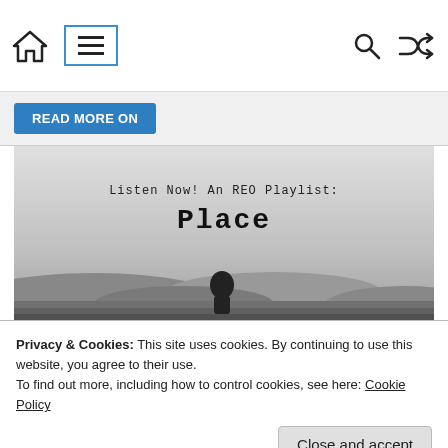Navigation bar with home icon, menu icon, search icon, shuffle icon
[Figure (screenshot): Banner image showing desert dunes landscape in grayscale with text overlay reading 'Listen Now! An REO Playlist: Place']
Privacy & Cookies: This site uses cookies. By continuing to use this website, you agree to their use.
To find out more, including how to control cookies, see here: Cookie Policy
Spotify Playlist